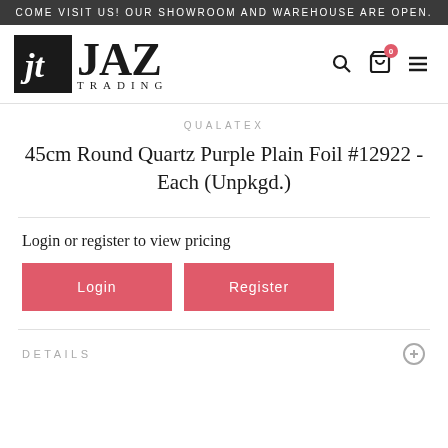COME VISIT US! OUR SHOWROOM AND WAREHOUSE ARE OPEN.
[Figure (logo): JAZ TRADING logo with stylized 'jt' monogram in black box and large serif JAZ text with TRADING below]
QUALATEX
45cm Round Quartz Purple Plain Foil #12922 - Each (Unpkgd.)
Login or register to view pricing
Login
Register
DETAILS